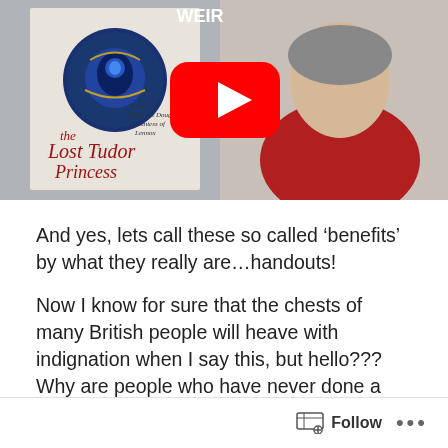[Figure (screenshot): YouTube video thumbnail showing a woman in a red sweater holding a book titled 'the Lost Tudor Princess' with a YouTube play button overlay in the center.]
And yes, lets call these so called ‘benefits’ by what they really are…handouts!
Now I know for sure that the chests of many British people will heave with indignation when I say this, but hello??? Why are people who have never done a day’s work in their lives getting ‘benefits’ anyway? What right do they have to receive a monthly payout from the government when they
Follow ...